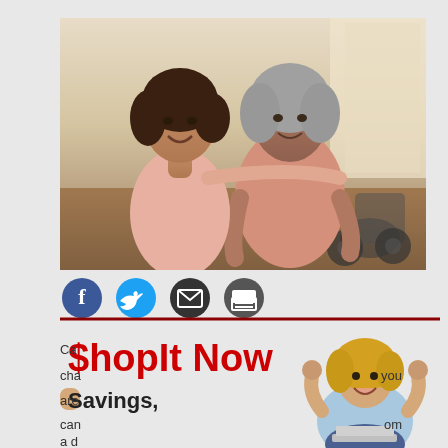[Figure (photo): Two women smiling — a younger caregiver standing behind an elderly woman in a wheelchair, indoors in a warm home setting.]
[Figure (infographic): Social media share icons: Facebook (blue circle with f), Twitter (blue circle with bird), Email (dark circle with envelope), Print (dark circle with printer). A dark red horizontal rule below the icons.]
[Figure (infographic): ShopIt Now advertisement overlay with red bold text '$hopIt Now' and 'Savings,' with a photo of an excited woman sitting cross-legged with a laptop and her arms raised in celebration.]
Ca
cha
you
are
can
om
a d